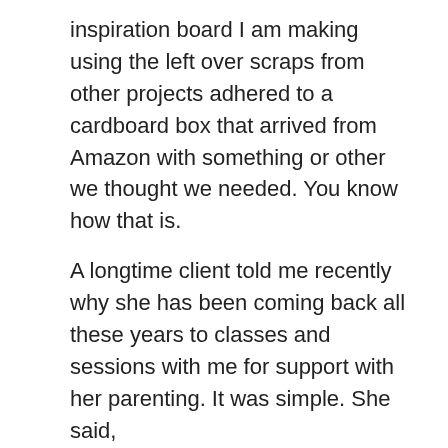inspiration board I am making using the left over scraps from other projects adhered to a cardboard box that arrived from Amazon with something or other we thought we needed. You know how that is.
A longtime client told me recently why she has been coming back all these years to classes and sessions with me for support with her parenting. It was simple. She said,
Empathy takes practice.
I couldn't agree more. It is true that learning to